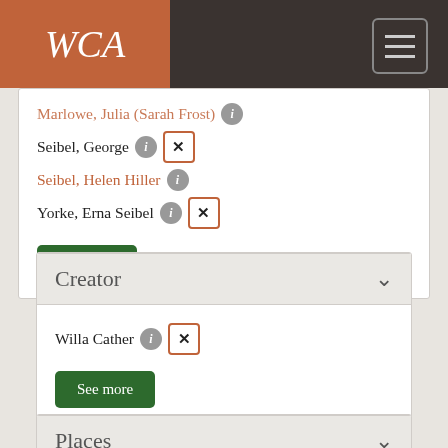WCA
Marlowe, Julia (Sarah Frost)
Seibel, George
Seibel, Helen Hiller
Yorke, Erna Seibel
See more
Creator
Willa Cather
See more
Places
Washington, D. C., United States